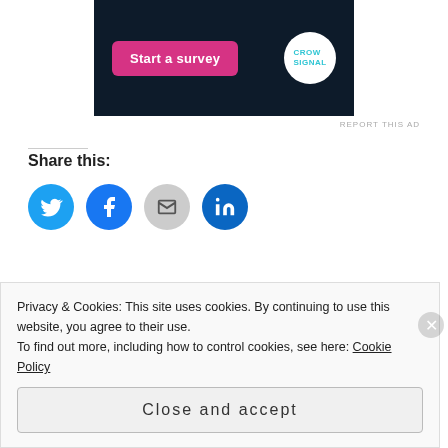[Figure (screenshot): Advertisement banner with dark navy background showing a pink 'Start a survey' button and a Crowdsignal logo circle on the right.]
REPORT THIS AD
Share this:
[Figure (infographic): Row of four social share icon circles: Twitter (blue), Facebook (blue), Email (grey), LinkedIn (dark blue)]
Loading...
Privacy & Cookies: This site uses cookies. By continuing to use this website, you agree to their use.
To find out more, including how to control cookies, see here: Cookie Policy
Close and accept